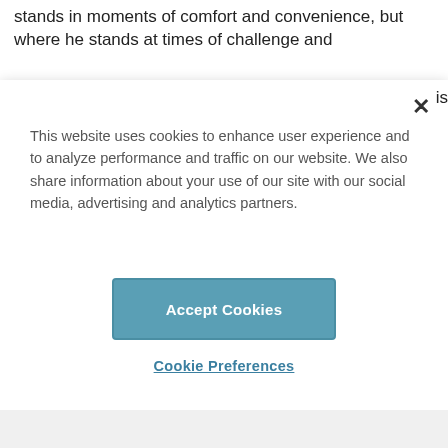stands in moments of comfort and convenience, but where he stands at times of challenge and
This website uses cookies to enhance user experience and to analyze performance and traffic on our website. We also share information about your use of our site with our social media, advertising and analytics partners.
Accept Cookies
Cookie Preferences